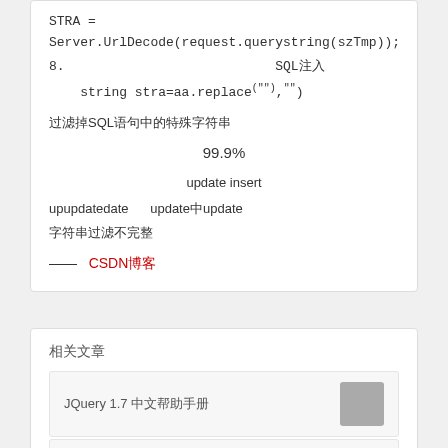STRA = Server.UrlDecode(request.querystring(szTmp));
8.                                    SQL注入
string stra=aa.replace("\"","\"\"")
过滤掉SQL语句中的特殊字符串
99.9%
update insert
upupdatedate      update中update
字符串过滤不完整
——   CSDN博客
相关文章
JQuery 1.7 中文帮助手册
MUI框架